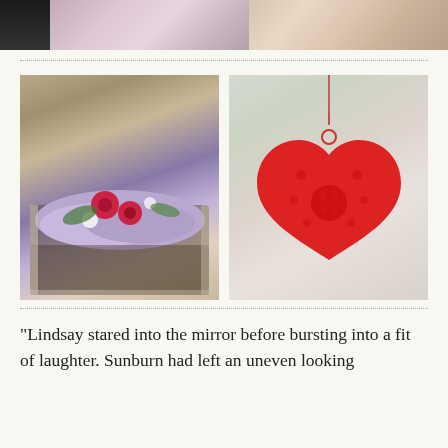[Figure (photo): Three photos in a horizontal strip at the top: left shows a dark partial image, center shows a person in navy holding a pink flower bouquet, right shows a floral arrangement with pink and cream flowers.]
[Figure (photo): Left: A decorative box with purple tissue paper containing an arrangement of red roses, white flowers, and greenery. Right: A red metal heart-shaped lantern ornament hanging by a chain in a softly blurred interior setting.]
“Lindsay stared into the mirror before bursting into a fit of laughter. Sunburn had left an uneven looking tan and she realised she’d have to...